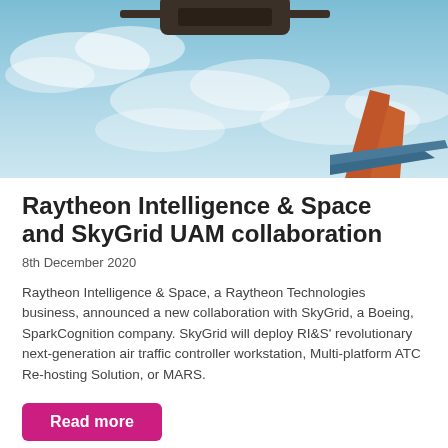[Figure (photo): Aerial/upward view of a drone or aircraft with a blue sky and clouds background, showing what appears to be aircraft tail fins from below.]
Raytheon Intelligence & Space and SkyGrid UAM collaboration
8th December 2020
Raytheon Intelligence & Space, a Raytheon Technologies business, announced a new collaboration with SkyGrid, a Boeing, SparkCognition company. SkyGrid will deploy RI&S' revolutionary next-generation air traffic controller workstation, Multi-platform ATC Re-hosting Solution, or MARS.
Read more